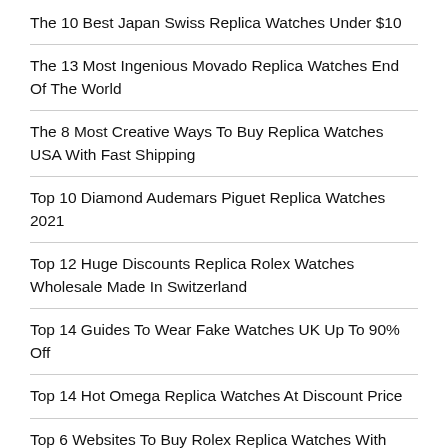The 10 Best Japan Swiss Replica Watches Under $10
The 13 Most Ingenious Movado Replica Watches End Of The World
The 8 Most Creative Ways To Buy Replica Watches USA With Fast Shipping
Top 10 Diamond Audemars Piguet Replica Watches 2021
Top 12 Huge Discounts Replica Rolex Watches Wholesale Made In Switzerland
Top 14 Guides To Wear Fake Watches UK Up To 90% Off
Top 14 Hot Omega Replica Watches At Discount Price
Top 6 Websites To Buy Rolex Replica Watches With 60% Discount